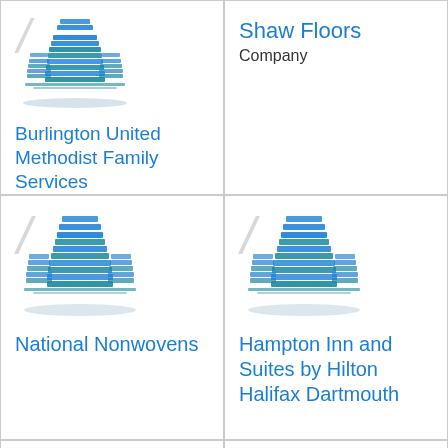[Figure (logo): Building/company icon in teal blue for Burlington United Methodist Family Services]
Burlington United Methodist Family Services
[Figure (logo): Shaw Floors company logo area]
Shaw Floors
Company
[Figure (logo): Building/company icon in teal blue for National Nonwovens]
National Nonwovens
[Figure (logo): Building/company icon in teal blue for Hampton Inn and Suites by Hilton Halifax Dartmouth]
Hampton Inn and Suites by Hilton Halifax Dartmouth
[Figure (logo): Partial building icon at bottom left]
[Figure (logo): Partial building icon at bottom right]